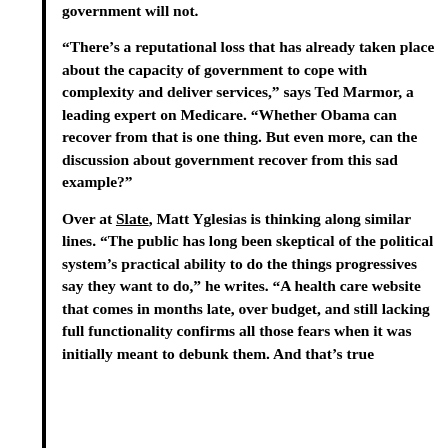government will not.
“There’s a reputational loss that has already taken place about the capacity of government to cope with complexity and deliver services,” says Ted Marmor, a leading expert on Medicare. “Whether Obama can recover from that is one thing. But even more, can the discussion about government recover from this sad example?”
Over at Slate, Matt Yglesias is thinking along similar lines. “The public has long been skeptical of the political system’s practical ability to do the things progressives say they want to do,” he writes. “A health care website that comes in months late, over budget, and still lacking full functionality confirms all those fears when it was initially meant to debunk them. And that’s true